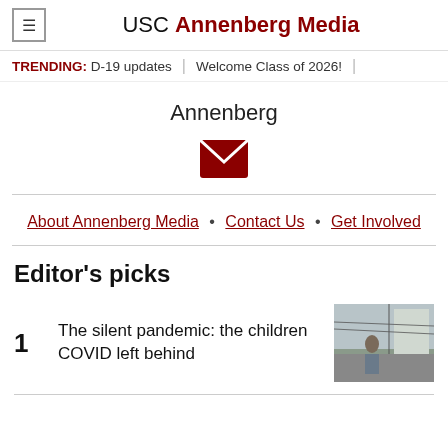USC Annenberg Media
TRENDING: D-19 updates | Welcome Class of 2026!
Annenberg
[Figure (other): Email/envelope icon in dark red]
About Annenberg Media • Contact Us • Get Involved
Editor's picks
1 The silent pandemic: the children COVID left behind
[Figure (photo): Thumbnail photo of a person outdoors near a building with power lines]